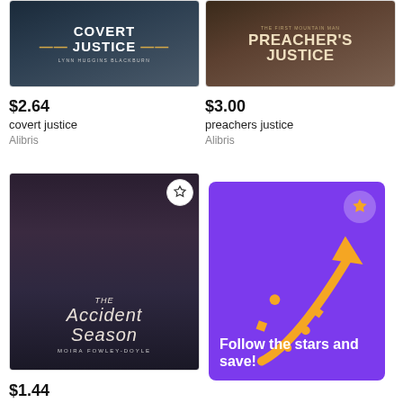[Figure (illustration): Book cover for 'Covert Justice' by Lynn Huggins Blackburn, dark blue-gray tones]
[Figure (illustration): Book cover for 'The First Mountain Man: Preacher's Justice', brown sepia tones with bearded man]
$2.64
covert justice
Alibris
$3.00
preachers justice
Alibris
[Figure (illustration): Book cover for 'The Accident Season' by Moira Fowley-Doyle, dark moody tones with person hugging tree, star icon overlay]
[Figure (infographic): Purple promotional card with golden arrow pointing up-right, star badge, confetti shapes, and text 'Follow the stars and save!']
$1.44
accident season
Follow the stars and save!